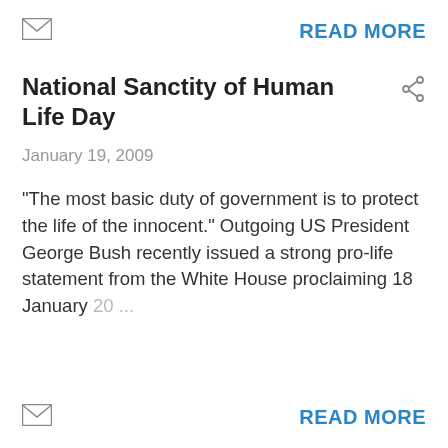[Figure (other): Envelope icon (mail symbol) top left]
READ MORE
National Sanctity of Human Life Day
[Figure (other): Share icon top right of title]
January 19, 2009
"The most basic duty of government is to protect the life of the innocent." Outgoing US President George Bush recently issued a strong pro-life statement from the White House proclaiming 18 January 20 ...
[Figure (other): Envelope icon (mail symbol) bottom left]
READ MORE